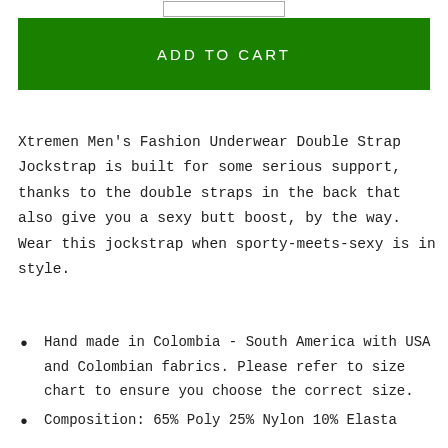[Figure (other): Input box / quantity selector at top of page]
ADD TO CART
Xtremen Men's Fashion Underwear Double Strap Jockstrap is built for some serious support, thanks to the double straps in the back that also give you a sexy butt boost, by the way. Wear this jockstrap when sporty-meets-sexy is in style.
Hand made in Colombia - South America with USA and Colombian fabrics. Please refer to size chart to ensure you choose the correct size.
Composition: 65% Poly 25% Nylon 10% Elasta